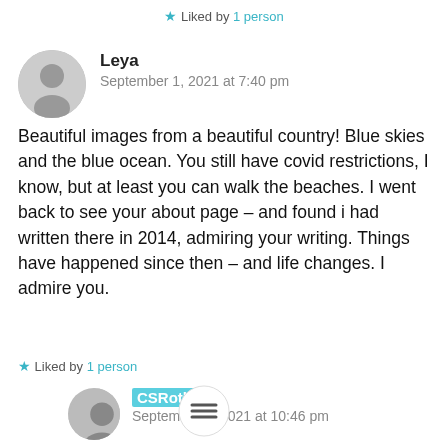★ Liked by 1 person
[Figure (illustration): Circular avatar image of Leya, grayscale photo]
Leya
September 1, 2021 at 7:40 pm
Beautiful images from a beautiful country! Blue skies and the blue ocean. You still have covid restrictions, I know, but at least you can walk the beaches. I went back to see your about page – and found i had written there in 2014, admiring your writing. Things have happened since then – and life changes. I admire you.
★ Liked by 1 person
[Figure (illustration): Circular avatar image of CSRoth, grayscale photo]
CSRoth
September 1, 2021 at 10:46 pm
Thank you, Leya. Yes, I remember you from the past when I was posting more often. I stopped for awhile